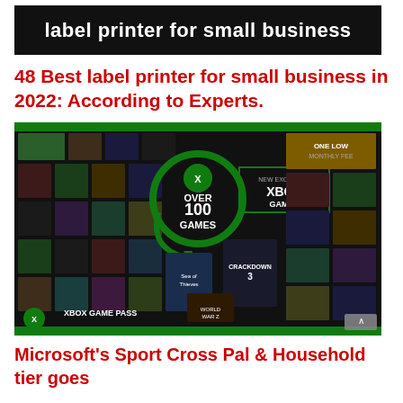[Figure (screenshot): Black banner image with white bold text reading 'label printer for small business']
48 Best label printer for small business in 2022: According to Experts.
[Figure (screenshot): Xbox Game Pass promotional image showing over 100 games including Sea of Thieves, Crackdown 3, with Xbox Game Pass logo at bottom left and a scroll-up arrow button at bottom right]
Microsoft's Sport Cross Pal & Household tier goes